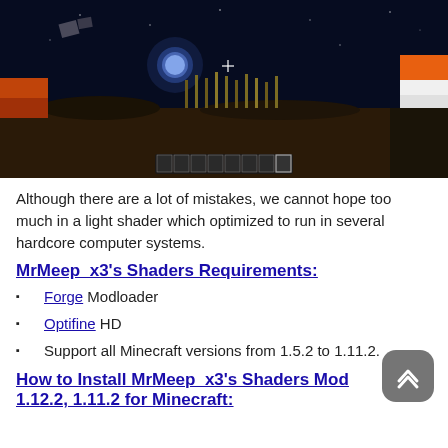[Figure (screenshot): Minecraft game screenshot at night showing dark sky with moon, terrain, crops, and hotbar at bottom]
Although there are a lot of mistakes, we cannot hope too much in a light shader which optimized to run in several hardcore computer systems.
MrMeep_x3's Shaders Requirements:
Forge Modloader
Optifine HD
Support all Minecraft versions from 1.5.2 to 1.11.2.
How to Install MrMeep_x3's Shaders Mod 1.12.2, 1.11.2 for Minecraft: